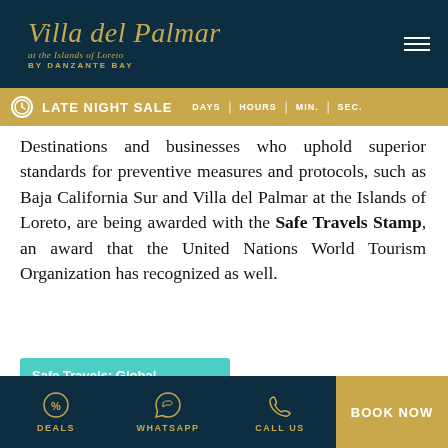[Figure (logo): Villa del Palmar at the Islands of Loreto BY DANZANTE BAY logo in gold script on dark navy background, with hamburger menu icon]
[Figure (infographic): Late Night Sale banner with clock icon and countdown units: DAYS, HOURS, MIN., SEC.]
Destinations and businesses who uphold superior standards for preventive measures and protocols, such as Baja California Sur and Villa del Palmar at the Islands of Loreto, are being awarded with the Safe Travels Stamp, an award that the United Nations World Tourism Organization has recognized as well.
[Figure (screenshot): Teal/cyan card image with text 'Safe Travels: Global Protocols for the New Normal' in bold white, with Safe Travels badge and luggage icon]
DEALS  WHATSAPP  CALL US  BOOK NOW